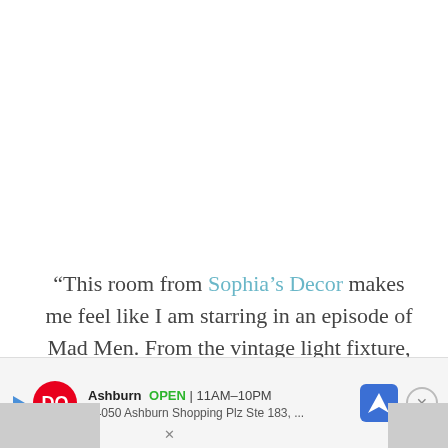“This room from Sophia’s Decor makes me feel like I am starring in an episode of Mad Men. From the vintage light fixture, to the incredible moldings, to the bed linens....this is a room that
[Figure (other): Advertisement banner: Dairy Queen (DQ) Ashburn location. Shows DQ logo, 'Ashburn OPEN 11AM-10PM', '44050 Ashburn Shopping Plz Ste 183,...', navigation icon, close button (X).]